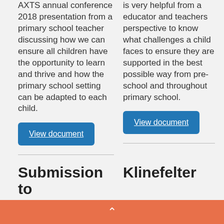AXTS annual conference 2018 presentation from a primary school teacher discussing how we can ensure all children have the opportunity to learn and thrive and how the primary school setting can be adapted to each child.
View document
is very helpful from a educator and teachers perspective to know what challenges a child faces to ensure they are supported in the best possible way from pre-school and throughout primary school.
View document
Submission to
Klinefelter